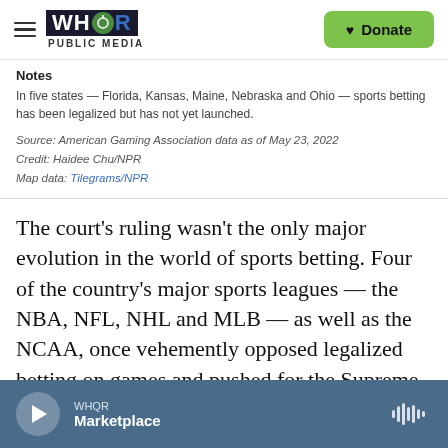WHQR PUBLIC MEDIA | Donate
Notes
In five states — Florida, Kansas, Maine, Nebraska and Ohio — sports betting has been legalized but has not yet launched.
Source: American Gaming Association data as of May 23, 2022
Credit: Haidee Chu/NPR
Map data: Tilegrams/NPR
The court's ruling wasn't the only major evolution in the world of sports betting. Four of the country's major sports leagues — the NBA, NFL, NHL and MLB — as well as the NCAA, once vehemently opposed legalized betting on games and pushed for the Supreme Court to maintain the embargo.
WHQR Marketplace